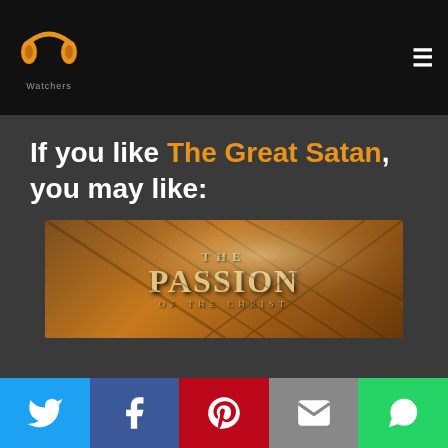PP Watchers — navigation header with logo and hamburger menu
If you like The Great Satan, you may like:
[Figure (photo): Movie poster for 'The Passion of the Christ' showing golden/amber toned imagery with thorns, with the title overlaid in large serif lettering: 'THE PASSION OF THE CHRIST']
Social share buttons: Twitter, Facebook, Pinterest, Email, WhatsApp